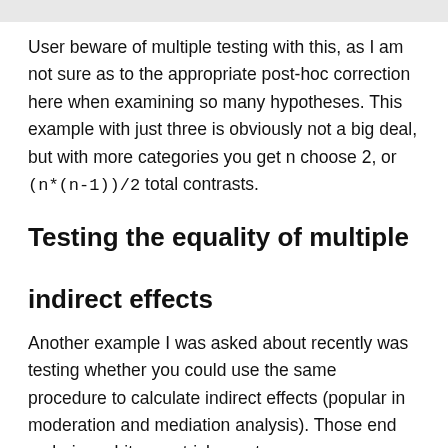User beware of multiple testing with this, as I am not sure as to the appropriate post-hoc correction here when examining so many hypotheses. This example with just three is obviously not a big deal, but with more categories you get n choose 2, or (n*(n-1))/2 total contrasts.
Testing the equality of multiple indirect effects
Another example I was asked about recently was testing whether you could use the same procedure to calculate indirect effects (popular in moderation and mediation analysis). Those end up being a bit more tricky, as to